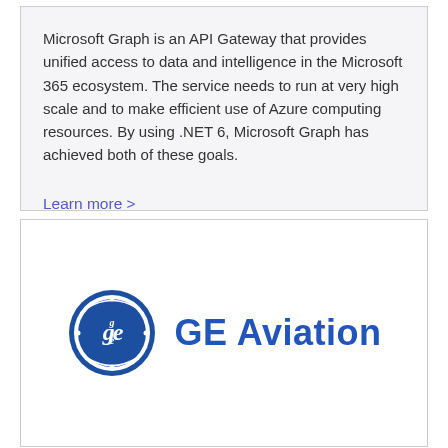Microsoft Graph is an API Gateway that provides unified access to data and intelligence in the Microsoft 365 ecosystem. The service needs to run at very high scale and to make efficient use of Azure computing resources. By using .NET 6, Microsoft Graph has achieved both of these goals.
Learn more >
[Figure (logo): GE Aviation logo — a blue circular GE monogram badge on the left and the text 'GE Aviation' in blue on the right]